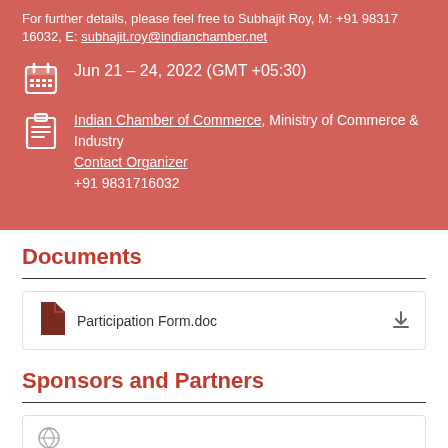For further details, please feel free to Subhajit Roy, M: +91 98317 16032, E: subhajit.roy@indianchamber.net
Jun 21 – 24, 2022 (GMT +05:30)
Indian Chamber of Commerce, Ministry of Commerce & Industry
Contact Organizer
+91 9831716032
Documents
Participation Form.doc
Sponsors and Partners